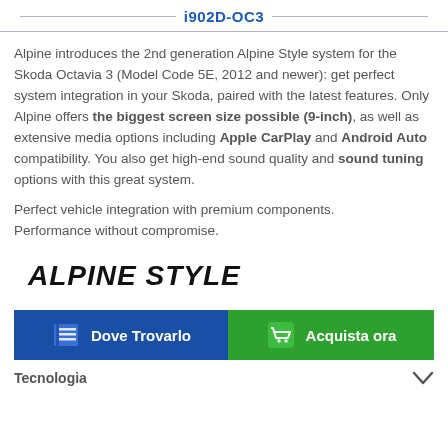i902D-OC3
Alpine introduces the 2nd generation Alpine Style system for the Skoda Octavia 3 (Model Code 5E, 2012 and newer): get perfect system integration in your Skoda, paired with the latest features. Only Alpine offers the biggest screen size possible (9-inch), as well as extensive media options including Apple CarPlay and Android Auto compatibility. You also get high-end sound quality and sound tuning options with this great system.
Perfect vehicle integration with premium components.
Performance without compromise.
[Figure (logo): Alpine Style logo in bold italic black text]
Dove Trovarlo
Acquista ora
Tecnologia